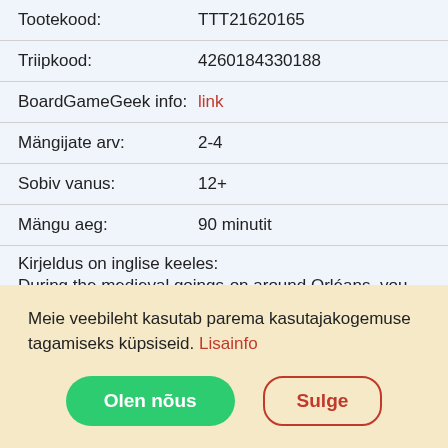| Tootekood: | TTT21620165 |
| Triipkood: | 4260184330188 |
| BoardGameGeek info: | link |
| Mängijate arv: | 2-4 |
| Sobiv vanus: | 12+ |
| Mängu aeg: | 90 minutit |
Kirjeldus on inglise keeles:
During the medieval goings-on around Orléans, you
Meie veebileht kasutab parema kasutajakogemuse tagamiseks küpsiseid. Lisainfo
Olen nõus
Sulge